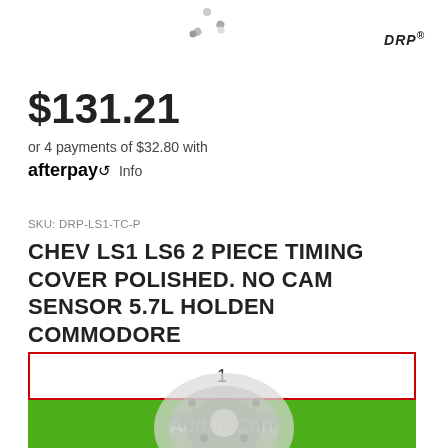[Figure (photo): Partial view of a polished timing cover part at top of page, with spinner/loading icon centered and DRP logo top-right]
$131.21
or 4 payments of $32.80 with afterpay Info
SKU: DRP-LS1-TC-P
CHEV LS1 LS6 2 PIECE TIMING COVER POLISHED. NO CAM SENSOR 5.7L HOLDEN COMMODORE
1
Add to Cart
[Figure (photo): Partial bottom view of polished timing cover part]